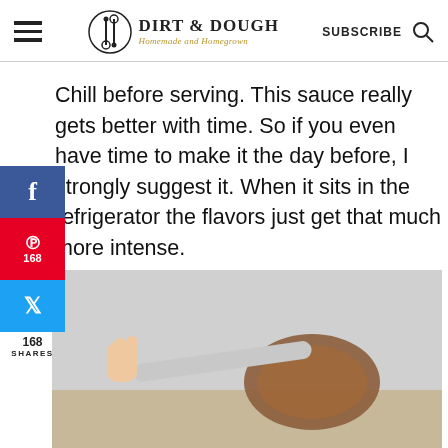DIRT & DOUGH — Homemade and Homegrown — SUBSCRIBE
Chill before serving. This sauce really gets better with time. So if you even have time to make it the day before, I strongly suggest it. When it sits in the refrigerator the flavors just get that much more intense.
[Figure (photo): A hand holding a ladle or spoon with sauce, photographed against a light gray background.]